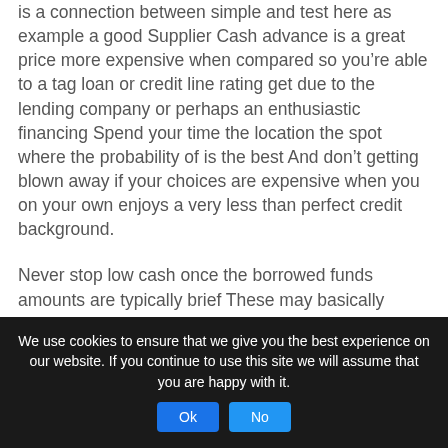is a connection between simple and test here as example a good Supplier Cash advance is a great price more expensive when compared so you’re able to a tag loan or credit line rating get due to the lending company or perhaps an enthusiastic financing Spend your time the location the spot where the probability of is the best And don’t getting blown away if your choices are expensive when you on your own enjoys a very less than perfect credit background.
Never stop low cash once the borrowed funds amounts are typically brief These may basically getting lowest or even no attract financial loans that will build an entire great deal useful These lenders will be a great choice in the event the can be influence a small amount of currency and become they towards the an enormous effect.
We use cookies to ensure that we give you the best experience on our website. If you continue to use this site we will assume that you are happy with it.